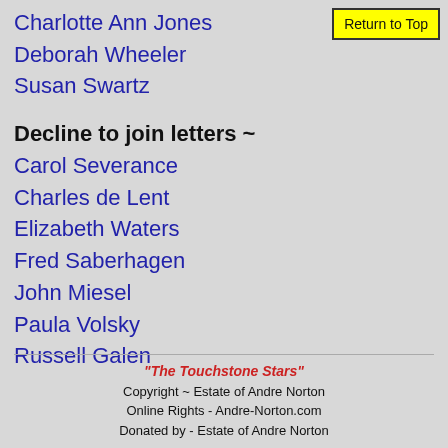Charlotte Ann Jones
Deborah Wheeler
Susan Swartz
Decline to join letters ~
Carol Severance
Charles de Lent
Elizabeth Waters
Fred Saberhagen
John Miesel
Paula Volsky
Russell Galen
"The Touchstone Stars" Copyright ~ Estate of Andre Norton Online Rights - Andre-Norton.com Donated by - Estate of Andre Norton